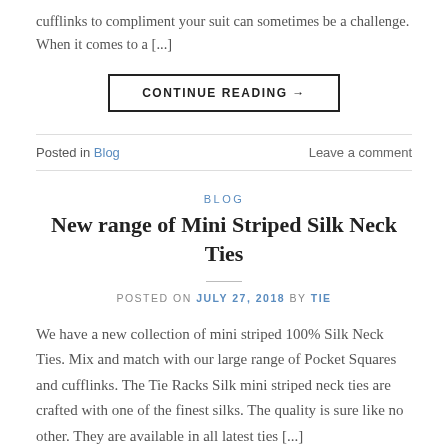cufflinks to compliment your suit can sometimes be a challenge. When it comes to a [...]
CONTINUE READING →
Posted in Blog    Leave a comment
BLOG
New range of Mini Striped Silk Neck Ties
POSTED ON JULY 27, 2018 BY TIE
We have a new collection of mini striped 100% Silk Neck Ties. Mix and match with our large range of Pocket Squares and cufflinks. The Tie Racks Silk mini striped neck ties are crafted with one of the finest silks. The quality is sure like no other. They are...